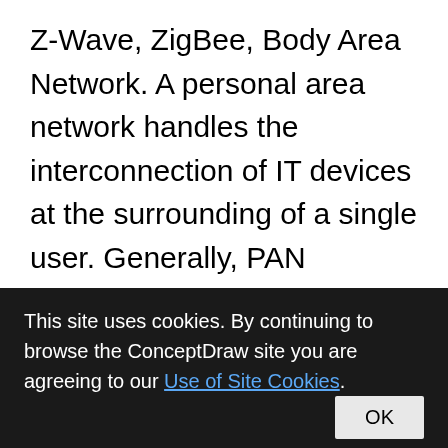Z-Wave, ZigBee, Body Area Network. A personal area network handles the interconnection of IT devices at the surrounding of a single user. Generally, PAN contains from following such appliances: cordless mice and keyboards, cordless phone, Bluetooth handsets. This example was created in ConceptDraw PRO using the Computer and Networks Area of ConceptDraw Solution Park and shows the Personal area network...
This site uses cookies. By continuing to browse the ConceptDraw site you are agreeing to our Use of Site Cookies.